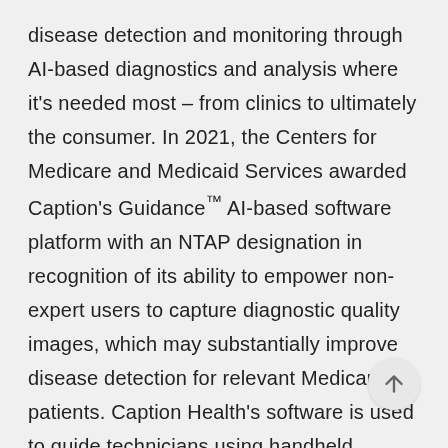disease detection and monitoring through AI-based diagnostics and analysis where it's needed most – from clinics to ultimately the consumer. In 2021, the Centers for Medicare and Medicaid Services awarded Caption's Guidance™ AI-based software platform with an NTAP designation in recognition of its ability to empower non-expert users to capture diagnostic quality images, which may substantially improve disease detection for relevant Medicare patients. Caption Health's software is used to guide technicians using handheld ultrasound devices to identify patterns that point to heart conditions such as heart disease.  It was recognized as one of TIME's 100 best inventions of 2021 and one of Fast Company's Next Big Things in Health Tech. Caption Health's platform